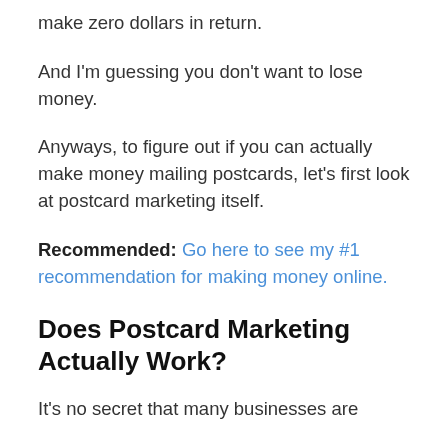make zero dollars in return.
And I'm guessing you don't want to lose money.
Anyways, to figure out if you can actually make money mailing postcards, let's first look at postcard marketing itself.
Recommended: Go here to see my #1 recommendation for making money online.
Does Postcard Marketing Actually Work?
It's no secret that many businesses are